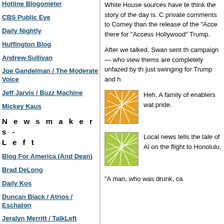Hotline Blogometer
CBS Public Eye
Daily Nightly
Huffington Blog
Andrew Sullivan
Joe Gandelman / The Moderate Voice
Jeff Jarvis / Buzz Machine
Mickey Kaus
N e w s m a k e r s  -  L e f t
Blog For America (And Dean)
Brad DeLong
Daily Kos
Duncan Black / Atrios / Eschaton
Jeralyn Merritt / TalkLeft
Josh Marshall / Talking Points
Kevin Drum / Mother Jones
White House sources have told think the story of the day is. private comments to Comey than the release of the "Acce there for "Access Hollywood" Trump.
After we talked, Swan sent th campaign — who view thems are completely unfazed by th just swinging for Trump and h
[Figure (illustration): Orange square thumbnail with white geometric/network lines pattern]
Heh. A family of enablers wat pride.
[Figure (illustration): Green/yellow-green square thumbnail with white geometric/network lines pattern]
Local news tells the tale of Al on the flight to Honolulu.
"A man, who was drunk, ca